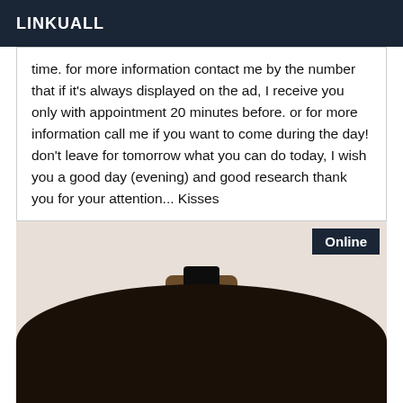LINKUALL
time. for more information contact me by the number that if it's always displayed on the ad, I receive you only with appointment 20 minutes before. or for more information call me if you want to come during the day! don't leave for tomorrow what you can do today, I wish you a good day (evening) and good research thank you for your attention... Kisses
[Figure (photo): A photo showing a person's dark curly hair from behind, with a wicker basket visible in the background and a blue stripe element. An 'Online' badge appears in the top-right corner of the photo.]